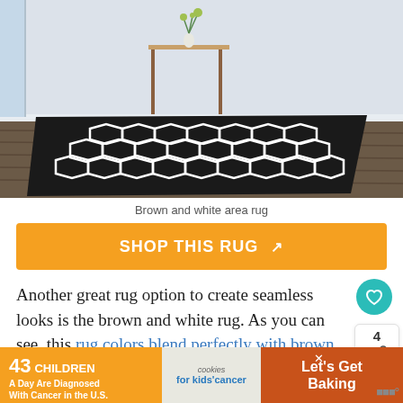[Figure (photo): Black and white hexagonal patterned area rug on dark wood floor in a room with a small table and vase of flowers]
Brown and white area rug
SHOP THIS RUG ↗
Another great rug option to create seamless looks is the brown and white rug. As you can see, this rug colors blend perfectly with brown wood floors, but still bring a good amount of contrast, thank's to its white accent.
WHAT'S NEXT → White Couch What Color...
[Figure (photo): Advertisement: 43 Children A Day Are Diagnosed With Cancer in the U.S. - cookies for kids cancer - Let's Get Baking]